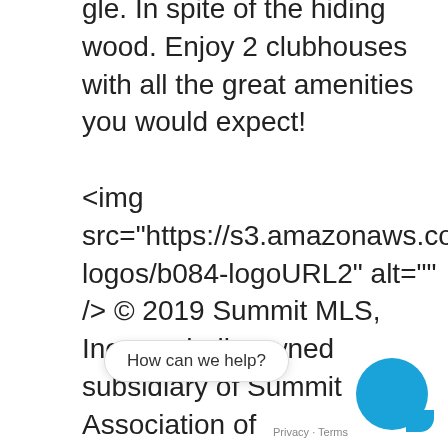gle. In spite of the hiding wood. Enjoy 2 clubhouses with all the great amenities you would expect!

<img src="https://s3.amazonaws.com/staticos.idxb logos/b084-logoURL2" alt="" /> © 2019 Summit MLS, Inc., a wholly owned subsidiary of Summit Association of REALTORS®. All rights reserved. The information being provided is for the consumer's non-commercial, personal use and may not be used for any other than to identify prospective properties consumer may be interested in purchasing. The information provided is not guaranteed and should be